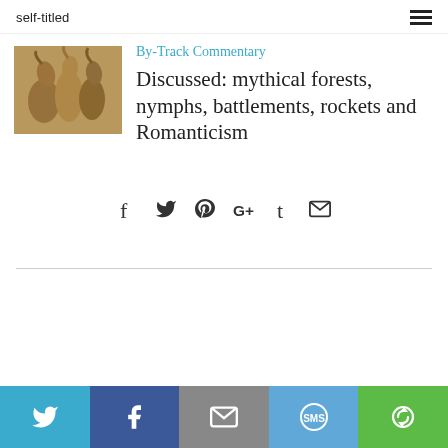self-titled
[Figure (photo): Sepia-toned photo of horses]
By-Track Commentary
Discussed: mythical forests, nymphs, battlements, rockets and Romanticism
[Figure (infographic): Social sharing icons row: Facebook, Twitter, Pinterest, Google+, Tumblr, Email]
Twitter, Facebook, Email, SMS, More sharing buttons